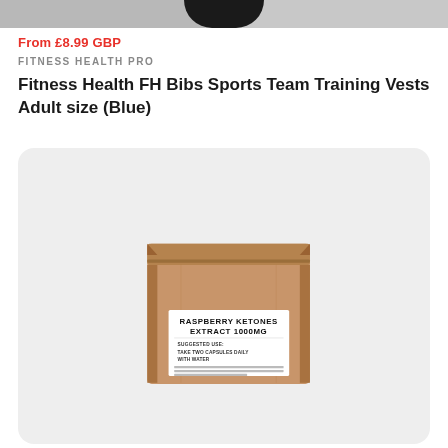[Figure (photo): Top portion of an e-commerce product listing page showing a dark clothing item (sports vest/bib) against a light grey background, cropped at top]
From £8.99 GBP
FITNESS HEALTH PRO
Fitness Health FH Bibs Sports Team Training Vests Adult size (Blue)
[Figure (photo): A kraft brown resealable pouch/bag product with a white label reading: RASPBERRY KETONES EXTRACT 1000MG. SUGGESTED USE: TAKE TWO CAPSULES DAILY WITH WATER. Additional small text below. Displayed on light grey rounded card background.]